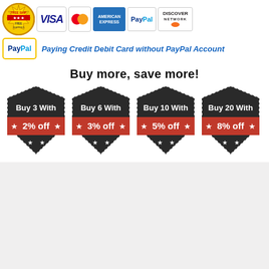[Figure (infographic): Payment method icons: Free Shipping seal, Visa, MasterCard, American Express, PayPal, Discover Network logos]
[Figure (infographic): PayPal logo badge with text: Paying Credit Debit Card without PayPal Account]
Buy more, save more!
[Figure (infographic): Four discount badges: Buy 3 With 2% off, Buy 6 With 3% off, Buy 10 With 5% off, Buy 20 With 8% off]